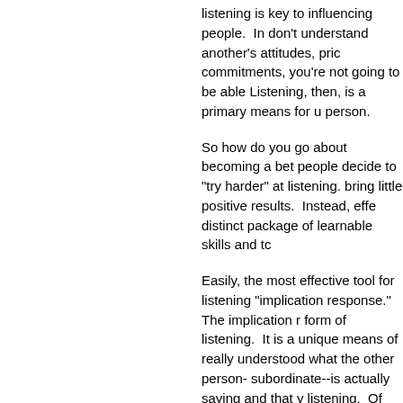listening is key to influencing people. In don't understand another's attitudes, pric commitments, you're not going to be able Listening, then, is a primary means for u person.
So how do you go about becoming a bet people decide to "try harder" at listening. bring little positive results. Instead, effe distinct package of learnable skills and tc
Easily, the most effective tool for listening "implication response." The implication r form of listening. It is a unique means of really understood what the other person- subordinate--is actually saying and that y listening. Of course, you can respond wi "OK. I get it," or "I understand," or some "that makes sense to me." You can ever has said, but nothing works as well, or is precise as the implication response.
Since the skill assumes interaction and r for the listener, I reserve it for important r